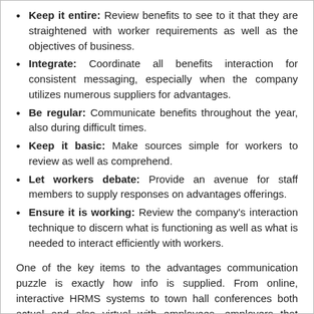Keep it entire: Review benefits to see to it that they are straightened with worker requirements as well as the objectives of business.
Integrate: Coordinate all benefits interaction for consistent messaging, especially when the company utilizes numerous suppliers for advantages.
Be regular: Communicate benefits throughout the year, also during difficult times.
Keep it basic: Make sources simple for workers to review as well as comprehend.
Let workers debate: Provide an avenue for staff members to supply responses on advantages offerings.
Ensure it is working: Review the company's interaction technique to discern what is functioning as well as what is needed to interact efficiently with workers.
One of the key items to the advantages communication puzzle is exactly how info is supplied. From online, interactive HRMS systems to town hall conferences both actual and also virtual with employees, employers that acknowledge the value of solid benefits interaction to the